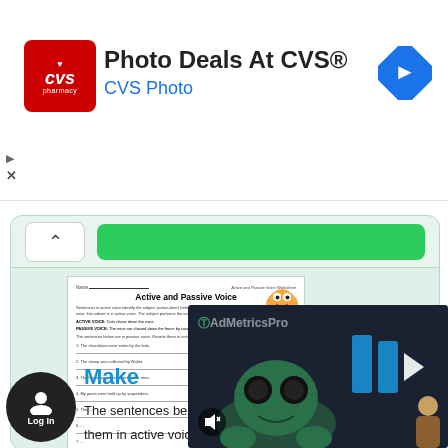[Figure (screenshot): CVS Pharmacy advertisement banner with CVS logo, 'Photo Deals At CVS®' title and 'CVS Photo' subtitle, navigation arrow icon top right]
[Figure (screenshot): Collapsed panel with chevron up button and green bar]
[Figure (screenshot): Active and Passive Voice worksheet preview in light green panel with cartoon character]
Make
The sentences bel
them in active voice.
[Figure (screenshot): AdMetricsPro video overlay with monster character and play/mute buttons]
[Figure (screenshot): Log In button with user icon, circular dark button]